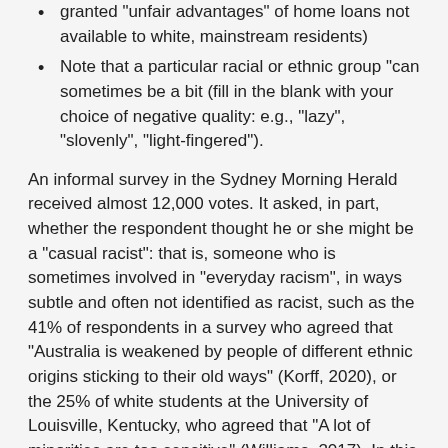granted "unfair advantages" of home loans not available to white, mainstream residents)
Note that a particular racial or ethnic group "can sometimes be a bit (fill in the blank with your choice of negative quality: e.g., "lazy", "slovenly", "light-fingered").
An informal survey in the Sydney Morning Herald received almost 12,000 votes. It asked, in part, whether the respondent thought he or she might be a "casual racist": that is, someone who is sometimes involved in "everyday racism", in ways subtle and often not identified as racist, such as the 41% of respondents in a survey who agreed that "Australia is weakened by people of different ethnic origins sticking to their old ways" (Korff, 2020), or the 25% of white students at the University of Louisville, Kentucky, who agreed that "A lot of minorities are too sensitive" (Williams, 2017). In this survey, 64% agreed that, yes, they were a "casual racist". Of these, two thirds (i.e., 44% of all the respondents) also stated that they were not going to change (Korff, 2020).